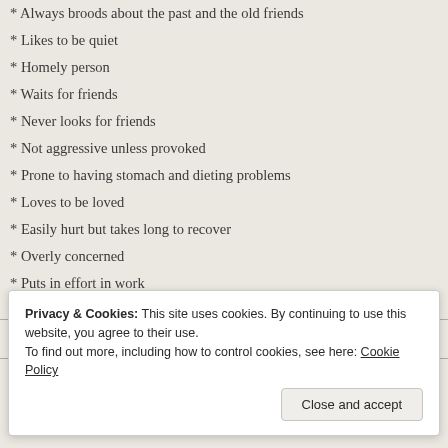* Always broods about the past and the old friends
* Likes to be quiet
* Homely person
* Waits for friends
* Never looks for friends
* Not aggressive unless provoked
* Prone to having stomach and dieting problems
* Loves to be loved
* Easily hurt but takes long to recover
* Overly concerned
* Puts in effort in work
Rate this: ★★★★½ ℹ 216 Votes
Privacy & Cookies: This site uses cookies. By continuing to use this website, you agree to their use.
To find out more, including how to control cookies, see here: Cookie Policy
Close and accept